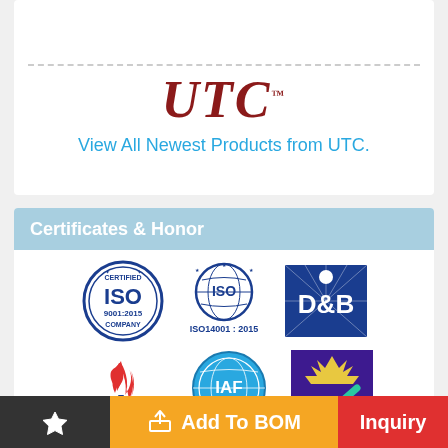[Figure (logo): UTC brand logo in dark red italic serif font with trademark symbol, followed by blue link text 'View All Newest Products from UTC.']
Certificates & Honor
[Figure (illustration): Six certification logos arranged in two rows: ISO 9001:2015 Certified Company, ISO 14001:2015, D&B, ANAB, IAF Member of Multilateral Recognition Arrangement, UKAS Quality Management]
Add To BOM
Inquiry